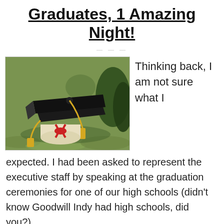Graduates, 1 Amazing Night!
[Figure (photo): Graduation cap and diploma roll lying on green grass outdoors]
Thinking back, I am not sure what I
expected. I had been asked to represent the executive staff by speaking at the graduation ceremonies for one of our high schools (didn't know Goodwill Indy had high schools, did you?).